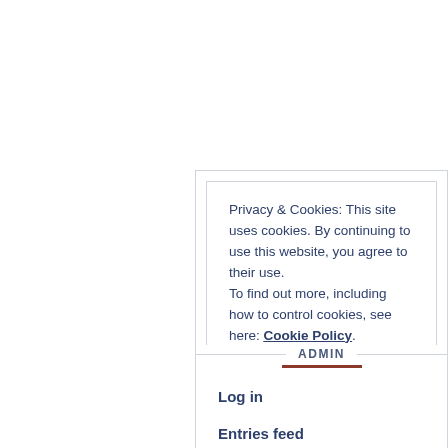Privacy & Cookies: This site uses cookies. By continuing to use this website, you agree to their use. To find out more, including how to control cookies, see here: Cookie Policy
Close and accept
ADMIN
Log in
Entries feed
Comments feed